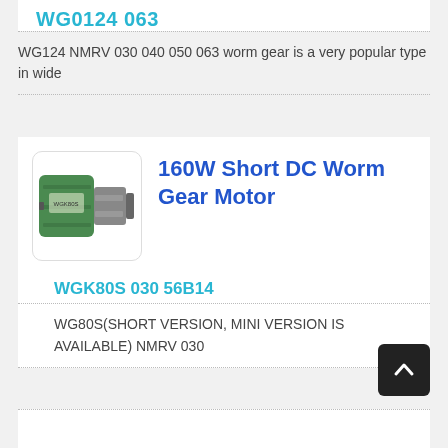WG0124 063
WG124 NMRV 030 040 050 063 worm gear is a very popular type in wide
160W Short DC Worm Gear Motor
WGK80S 030 56B14
WG80S(SHORT VERSION, MINI VERSION IS AVAILABLE) NMRV 030
[Figure (photo): Photo of a green DC worm gear motor with metal gearbox housing]